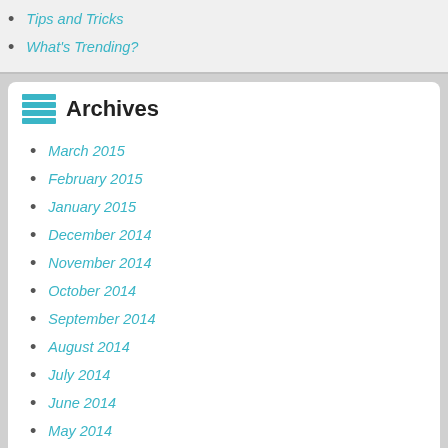Tips and Tricks
What's Trending?
Archives
March 2015
February 2015
January 2015
December 2014
November 2014
October 2014
September 2014
August 2014
July 2014
June 2014
May 2014
April 2014
March 2014
February 2014